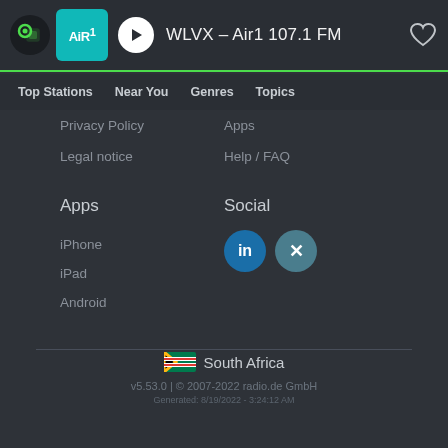WLVX - Air1 107.1 FM
Top Stations   Near You   Genres   Topics
Privacy Policy
Apps
Legal notice
Help / FAQ
Apps
Social
iPhone
iPad
Android
[Figure (logo): LinkedIn and Xing social media icons]
South Africa
v5.53.0 | © 2007-2022 radio.de GmbH
Generated: 8/19/2022 - 3:24:12 AM